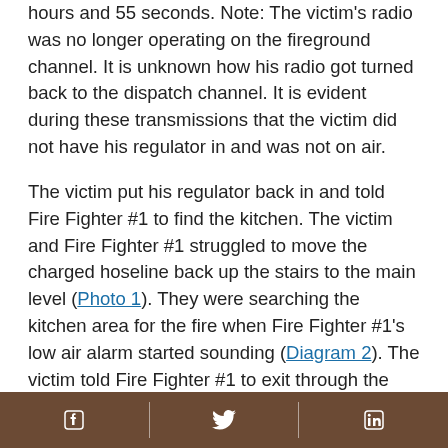hours and 55 seconds. Note: The victim's radio was no longer operating on the fireground channel. It is unknown how his radio got turned back to the dispatch channel. It is evident during these transmissions that the victim did not have his regulator in and was not on air.
The victim put his regulator back in and told Fire Fighter #1 to find the kitchen. The victim and Fire Fighter #1 struggled to move the charged hoseline back up the stairs to the main level (Photo 1). They were searching the kitchen area for the fire when Fire Fighter #1's low air alarm started sounding (Diagram 2). The victim told Fire Fighter #1 to exit through the front door and send someone else in to take his place. Note: The crew from Engine 2 had just opened the front door. Fire Fighter #1 exited and then
Facebook | Twitter | LinkedIn